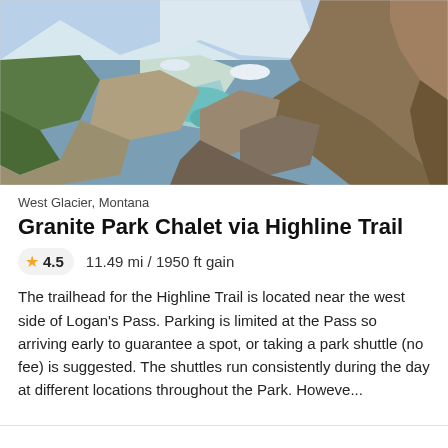[Figure (photo): Aerial mountain landscape photo showing a glacier valley with turquoise water, rocky terrain, snow patches, and mountain ridges in Glacier National Park, Montana.]
West Glacier, Montana
Granite Park Chalet via Highline Trail
4.5  11.49 mi / 1950 ft gain
The trailhead for the Highline Trail is located near the west side of Logan's Pass. Parking is limited at the Pass so arriving early to guarantee a spot, or taking a park shuttle (no fee) is suggested. The shuttles run consistently during the day at different locations throughout the Park. Howeve...